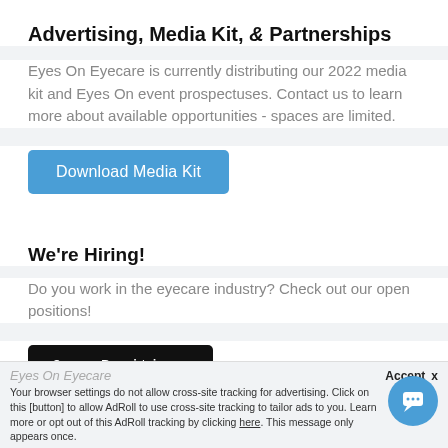Advertising, Media Kit, & Partnerships
Eyes On Eyecare is currently distributing our 2022 media kit and Eyes On event prospectuses. Contact us to learn more about available opportunities - spaces are limited.
[Figure (other): Blue button labeled 'Download Media Kit']
We're Hiring!
Do you work in the eyecare industry? Check out our open positions!
[Figure (other): Black button labeled 'Open Positions']
Accept  x  Your browser settings do not allow cross-site tracking for advertising. Click on this [button] to allow AdRoll to use cross-site tracking to tailor ads to you. Learn more or opt out of this AdRoll tracking by clicking here. This message only appears once.